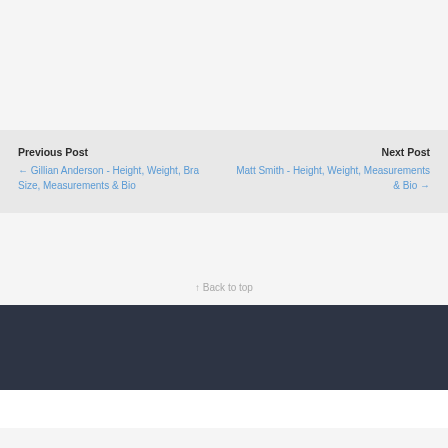Previous Post
← Gillian Anderson - Height, Weight, Bra Size, Measurements & Bio
Next Post
Matt Smith - Height, Weight, Measurements & Bio →
↑ Back to top